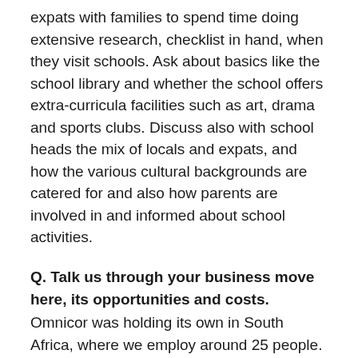expats with families to spend time doing extensive research, checklist in hand, when they visit schools. Ask about basics like the school library and whether the school offers extra-curricula facilities such as art, drama and sports clubs. Discuss also with school heads the mix of locals and expats, and how the various cultural backgrounds are catered for and also how parents are involved in and informed about school activities.
Q. Talk us through your business move here, its opportunities and costs.
Omnicor was holding its own in South Africa, where we employ around 25 people. They are a strong and able team and have been running the business there since we left. Our main issue with the